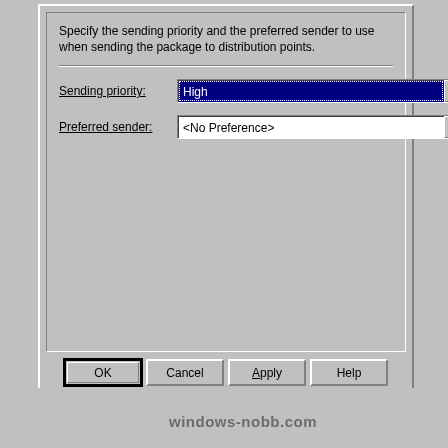Specify the sending priority and the preferred sender to use when sending the package to distribution points.
Sending priority: High
Preferred sender: <No Preference>
[Figure (screenshot): Windows dialog showing Sending priority dropdown set to 'High' (highlighted in blue with red circle annotation on dropdown button), and Preferred sender dropdown set to '<No Preference>'. Buttons: OK, Cancel, Apply, Help. Watermark: windows-nobb.com]
windows-nobb.com